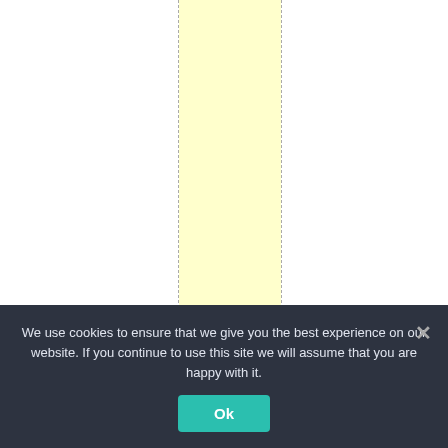insoutobetrue.
👍 32   👎 0
We use cookies to ensure that we give you the best experience on our website. If you continue to use this site we will assume that you are happy with it.
Ok